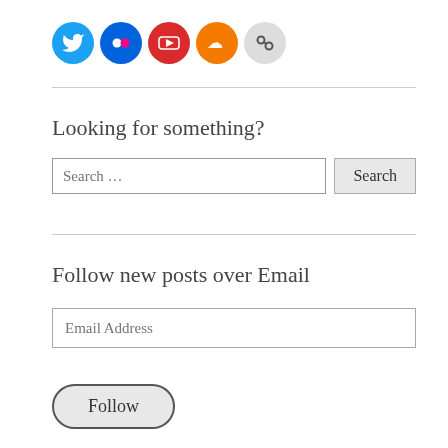[Figure (illustration): Row of five social media icon circles: Twitter (blue), Flickr (blue), YouTube (red), SoundCloud (orange), and a chain-link/other icon (gray)]
Looking for something?
[Figure (other): Search input field with placeholder 'Search …' and a Search button]
Follow new posts over Email
[Figure (other): Email address input field with placeholder 'Email Address' and a Follow button]